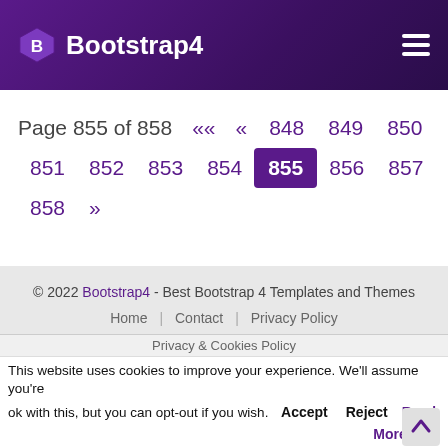Bootstrap4
Page 855 of 858 « « 848 849 850 851 852 853 854 855 856 857 858 »
© 2022 Bootstrap4 - Best Bootstrap 4 Templates and Themes
Home | Contact | Privacy Policy
Privacy & Cookies Policy
This website uses cookies to improve your experience. We'll assume you're ok with this, but you can opt-out if you wish. Accept Reject Read More